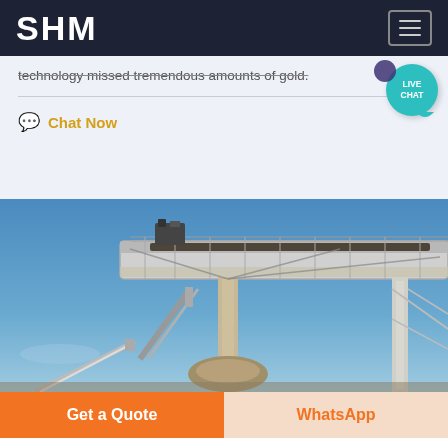SHM
technology missed tremendous amounts of gold.
Chat Now
[Figure (photo): Industrial conveyor belt structure against a blue sky, showing a large elevated conveyor system with metal framework and supports at a mining or aggregates facility.]
Get a Quote
WhatsApp